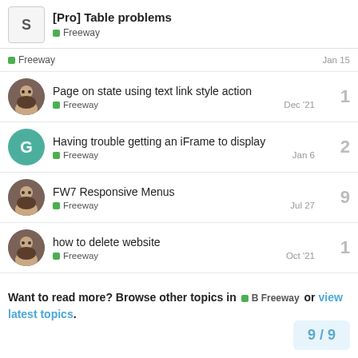[Pro] Table problems
Freeway
Freeway  Jan 15
Page on state using text link style action | Freeway | Dec '21 | replies: 1
Having trouble getting an iFrame to display | Freeway | Jan 6 | replies: 2
FW7 Responsive Menus | Freeway | Jul 27 | replies: 9
how to delete website | Freeway | Oct '21 | replies: 1
Want to read more? Browse other topics in Freeway or view latest topics.
9/9